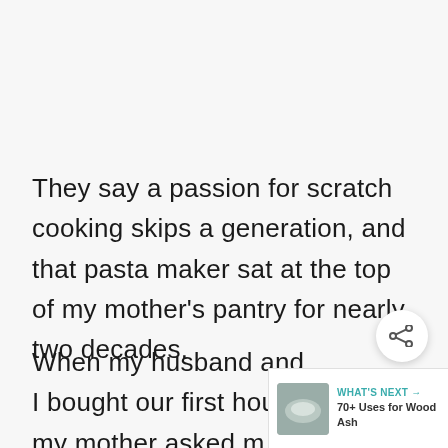They say a passion for scratch cooking skips a generation, and that pasta maker sat at the top of my mother's pantry for nearly two decades.
When my husband and I bought our first house, my mother asked m wanted anything for our kitchen, and I
[Figure (other): Share button (circular white icon with share symbol)]
[Figure (other): What's Next widget showing a thumbnail of wood ash with text '70+ Uses for Wood Ash']